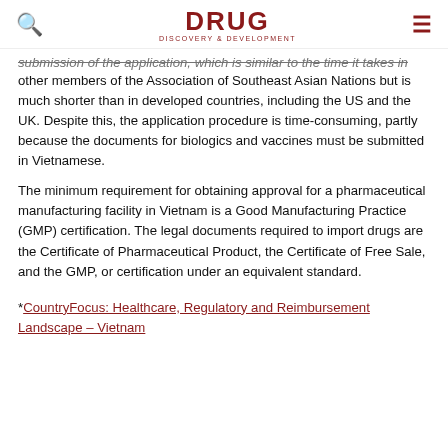DRUG DISCOVERY & DEVELOPMENT
submission of the application, which is similar to the time it takes in other members of the Association of Southeast Asian Nations but is much shorter than in developed countries, including the US and the UK. Despite this, the application procedure is time-consuming, partly because the documents for biologics and vaccines must be submitted in Vietnamese.
The minimum requirement for obtaining approval for a pharmaceutical manufacturing facility in Vietnam is a Good Manufacturing Practice (GMP) certification. The legal documents required to import drugs are the Certificate of Pharmaceutical Product, the Certificate of Free Sale, and the GMP, or certification under an equivalent standard.
*CountryFocus: Healthcare, Regulatory and Reimbursement Landscape – Vietnam